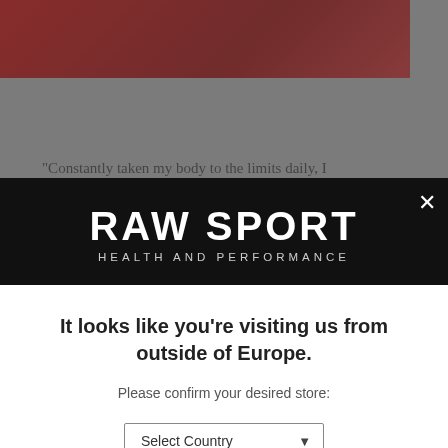[Figure (screenshot): Background page showing red product image at top, partially visible quote text, and Trustpilot logo at bottom, with gray overlay for modal backdrop]
[Figure (logo): RAW SPORT HEALTH AND PERFORMANCE logo in white text on black background with close X button]
It looks like you're visiting us from outside of Europe.
Please confirm your desired store:
Select Country
CONFIRM
[Figure (logo): Trustpilot logo with green star and Trustpilot wordmark]